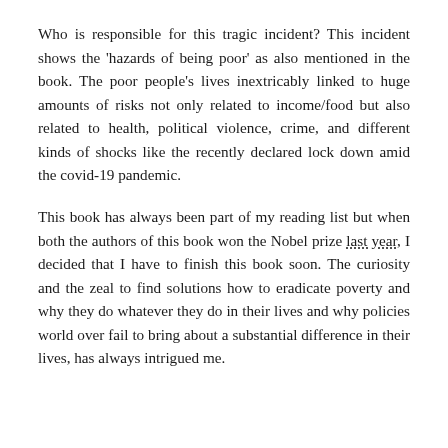Who is responsible for this tragic incident? This incident shows the 'hazards of being poor' as also mentioned in the book. The poor people's lives inextricably linked to huge amounts of risks not only related to income/food but also related to health, political violence, crime, and different kinds of shocks like the recently declared lock down amid the covid-19 pandemic.
This book has always been part of my reading list but when both the authors of this book won the Nobel prize last year, I decided that I have to finish this book soon. The curiosity and the zeal to find solutions how to eradicate poverty and why they do whatever they do in their lives and why policies world over fail to bring about a substantial difference in their lives, has always intrigued me.